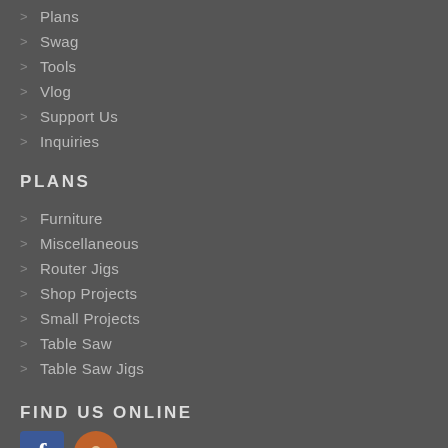Plans
Swag
Tools
Vlog
Support Us
Inquiries
PLANS
Furniture
Miscellaneous
Router Jigs
Shop Projects
Small Projects
Table Saw
Table Saw Jigs
FIND US ONLINE
[Figure (logo): Facebook logo icon (blue square with white f) and a circular brown/orange icon]